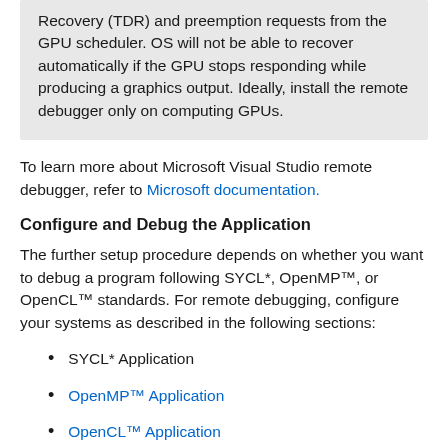Recovery (TDR) and preemption requests from the GPU scheduler. OS will not be able to recover automatically if the GPU stops responding while producing a graphics output. Ideally, install the remote debugger only on computing GPUs.
To learn more about Microsoft Visual Studio remote debugger, refer to Microsoft documentation.
Configure and Debug the Application
The further setup procedure depends on whether you want to debug a program following SYCL*, OpenMP™, or OpenCL™ standards. For remote debugging, configure your systems as described in the following sections:
SYCL* Application
OpenMP™ Application
OpenCL™ Application